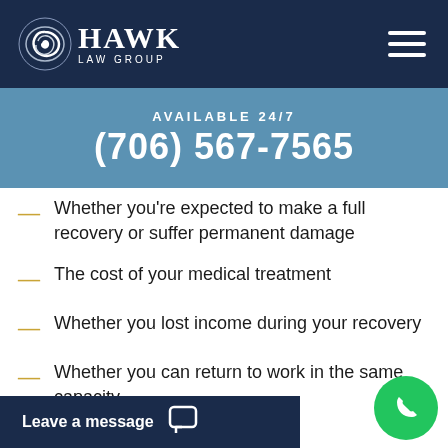[Figure (logo): Hawk Law Group logo with spiral emblem and white text on dark navy background]
AVAILABLE 24/7
(706) 567-7565
Whether you're expected to make a full recovery or suffer permanent damage
The cost of your medical treatment
Whether you lost income during your recovery
Whether you can return to work in the same capacity
Damage to your quality of life
Leave a message